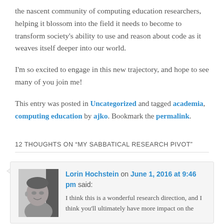the nascent community of computing education researchers, helping it blossom into the field it needs to become to transform society's ability to use and reason about code as it weaves itself deeper into our world.
I'm so excited to engage in this new trajectory, and hope to see many of you join me!
This entry was posted in Uncategorized and tagged academia, computing education by ajko. Bookmark the permalink.
12 THOUGHTS ON “MY SABBATICAL RESEARCH PIVOT”
[Figure (photo): Grayscale headshot photo of Lorin Hochstein]
Lorin Hochstein on June 1, 2016 at 9:46 pm said:
I think this is a wonderful research direction, and I think you'll ultimately have more impact on the